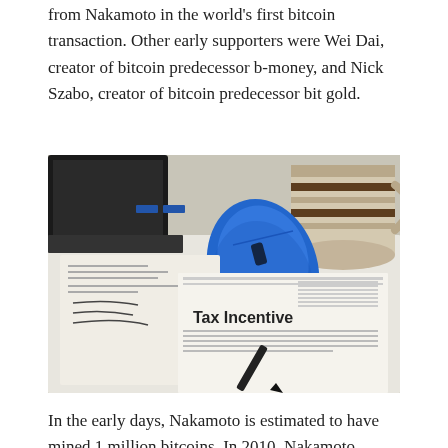from Nakamoto in the world's first bitcoin transaction. Other early supporters were Wei Dai, creator of bitcoin predecessor b-money, and Nick Szabo, creator of bitcoin predecessor bit gold.
[Figure (photo): A desk scene showing a laptop, blue computer mouse, striped coffee mug, financial/tax documents with handwriting, a newspaper with visible headline 'Tax Incentive', and a black pen resting on the papers.]
In the early days, Nakamoto is estimated to have mined 1 million bitcoins. In 2010, Nakamoto handed the network alert